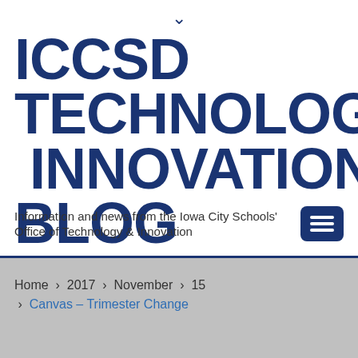[Figure (other): Chevron/down arrow icon at top center]
ICCSD TECHNOLOGY & INNOVATION BLOG
Information and news from the Iowa City Schools' Office of Technology & Innovation
Home › 2017 › November › 15 › Canvas – Trimester Change
English